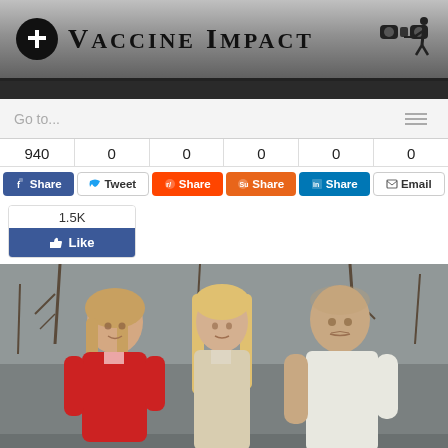Vaccine Impact
Go to...
940 | 0 | 0 | 0 | 0 | 0
Share | Tweet | Share | Share | Share | Email
1.5K Like
[Figure (photo): A woman in a red jacket, a teenage girl with long blonde hair, and an older bald man standing together outdoors with bare trees in the background.]